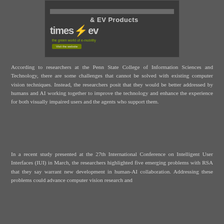[Figure (illustration): TimesEV advertisement banner showing the TimesEV logo with a lightning bolt slash, tagline 'the green world of e-mobility', a 'Visit the website' button, and '& EV Products' text at the top right on a dark background.]
According to researchers at the Penn State College of Information Sciences and Technology, there are some challenges that cannot be solved with existing computer vision techniques. Instead, the researchers posit that they would be better addressed by humans and AI working together to improve the technology and enhance the experience for both visually impaired users and the agents who support them.
In a recent study presented at the 27th International Conference on Intelligent User Interfaces (IUI) in March, the researchers highlighted five emerging problems with RSA that they say warrant new development in human-AI collaboration. Addressing these problems could advance computer vision research and